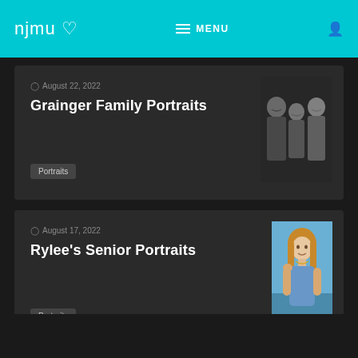njmu ♡  MENU
August 22, 2022
Grainger Family Portraits
Portraits
[Figure (photo): Black and white family portrait showing a man, young child, and woman smiling together]
August 17, 2022
Rylee's Senior Portraits
Portraits
[Figure (photo): Color portrait of a young woman with long hair in a blue top, outdoors near water]